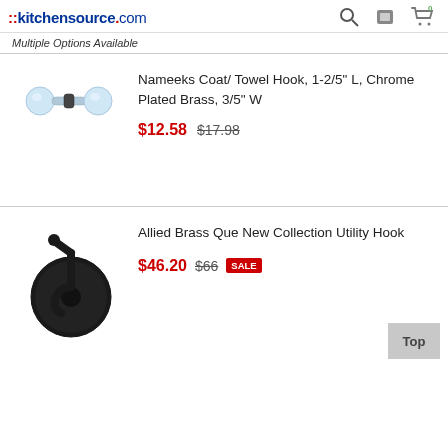::kitchensource.com
Multiple Options Available
[Figure (photo): Small chrome dumbbell-shaped coat/towel hook on white background]
Nameeks Coat/ Towel Hook, 1-2/5" L, Chrome Plated Brass, 3/5" W
$12.58  $17.98
[Figure (photo): Black matte utility hook with circular backplate, Allied Brass Que New Collection]
Allied Brass Que New Collection Utility Hook
$46.20  $66  SALE